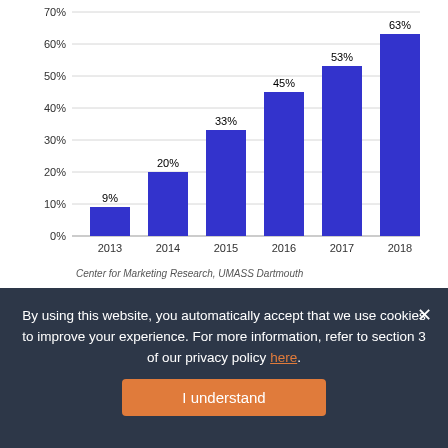[Figure (bar-chart): ]
Center for Marketing Research, UMASS Dartmouth
As for corporate blogs, their use by Fortune 500 firms has also been steadily rising. Some 53% of the companies examined now have a corporate blog, up from 42% in 2017 and 36% in 2016.
The researchers theorize that the use of blogs may be increasing in part because they give firms full
By using this website, you automatically accept that we use cookies to improve your experience. For more information, refer to section 3 of our privacy policy here.